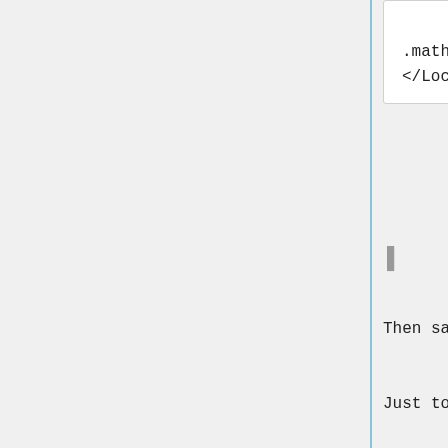[Figure (screenshot): Code block showing Apache config snippet: Allow from .math.yourschool.edu </Location>]
Then save the file and quit (
Just to be sure you changed wh
[Figure (screenshot): Code block showing shell commands: # diff httpd.conf httpd.conf.bak1 / # exit / $]
diff should report the chang